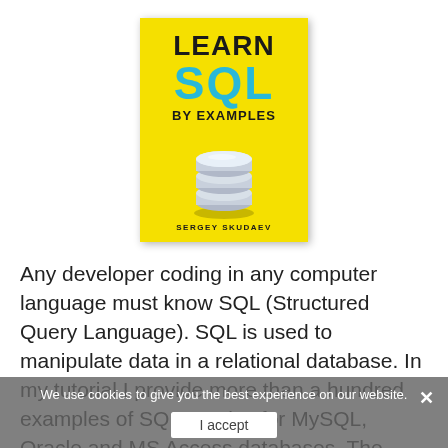[Figure (illustration): Book cover for 'Learn SQL by Examples' by Sergey Skudaev. Yellow background with 'LEARN' in black bold, 'SQL' in large cyan bold, 'BY EXAMPLES' in black bold, a 3D database cylinder icon in silver/blue, and author name 'SERGEY SKUDAEY' at the bottom.]
Any developer coding in any computer language must know SQL (Structured Query Language). SQL is used to manipulate data in a relational database. In my tutorial I provide more than a hundred examples of SQL queries for MySQL, Oracle and MS Access databases. The book includes CREATE TABLE statements and INSERT statements with the same data as I ...
We use cookies to give you the best experience on our website.